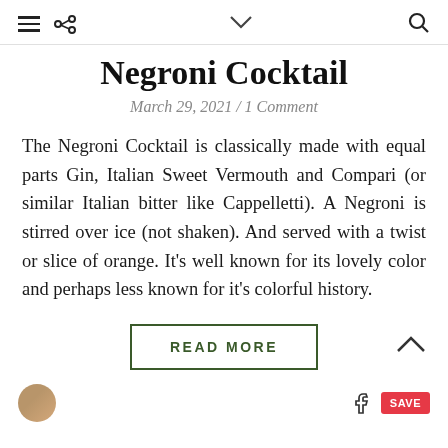≡ 🔗 ∨ 🔍
Negroni Cocktail
March 29, 2021 / 1 Comment
The Negroni Cocktail is classically made with equal parts Gin, Italian Sweet Vermouth and Compari (or similar Italian bitter like Cappelletti). A Negroni is stirred over ice (not shaken). And served with a twist or slice of orange. It's well known for its lovely color and perhaps less known for it's colorful history.
READ MORE